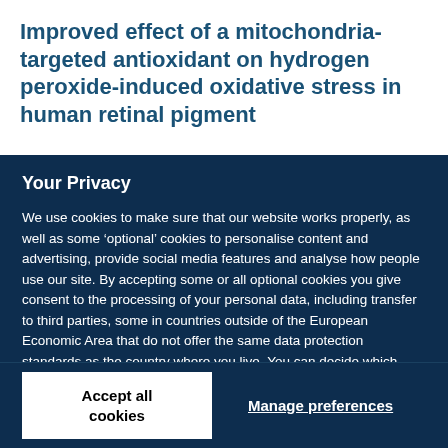Improved effect of a mitochondria-targeted antioxidant on hydrogen peroxide-induced oxidative stress in human retinal pigment
Your Privacy
We use cookies to make sure that our website works properly, as well as some ‘optional’ cookies to personalise content and advertising, provide social media features and analyse how people use our site. By accepting some or all optional cookies you give consent to the processing of your personal data, including transfer to third parties, some in countries outside of the European Economic Area that do not offer the same data protection standards as the country where you live. You can decide which optional cookies to accept by clicking on ‘Manage Settings’, where you can also find more information about how your personal data is processed. Further information can be found in our privacy policy.
Accept all cookies
Manage preferences